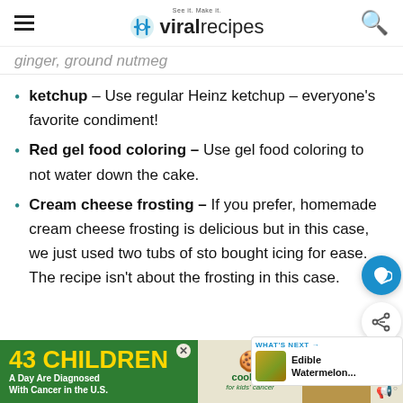viral recipes — See it. Make it.
ginger, ground nutmeg
ketchup – Use regular Heinz ketchup – everyone's favorite condiment!
Red gel food coloring – Use gel food coloring to not water down the cake.
Cream cheese frosting – If you prefer, homemade cream cheese frosting is delicious but in this case, we just used two tubs of store bought icing for ease. The recipe isn't about the frosting in this case.
[Figure (screenshot): Heart/save floating button (blue circle with heart icon) and share floating button (white circle with share icon)]
[Figure (infographic): What's Next panel showing a food image thumbnail and text 'Edible Watermelon...']
[Figure (infographic): Advertisement banner: '43 Children A Day Are Diagnosed With Cancer in the U.S.' with cookies for kids' cancer and Let's Get Baking sections]